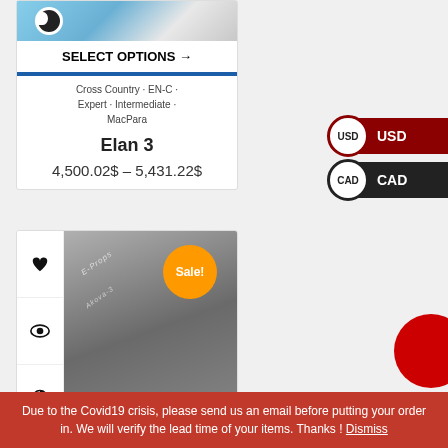[Figure (photo): Paraglider product photo with sky background]
SELECT OPTIONS →
Cross Country · EN-C · Expert · Intermediate · MacPara
Elan 3
4,500.02$ – 5,431.22$
USD
CAD
[Figure (photo): E-Props carbon propeller product photo with Sale! badge]
Due to the Covid19 crisis, please send us an email before putting your order in. We will verify the lead time of your items. Thanks ! Dismiss